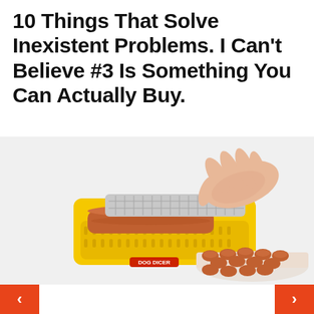10 Things That Solve Inexistent Problems. I Can't Believe #3 Is Something You Can Actually Buy.
[Figure (photo): A hand using a yellow hot dog slicer/dicer device (labeled 'DOG DICER') to slice a hot dog, with a plate of sliced hot dog pieces visible in the bottom right corner.]